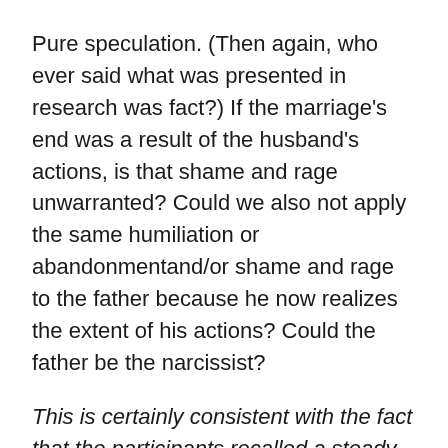Pure speculation. (Then again, who ever said what was presented in research was fact?) If the marriage's end was a result of the husband's actions, is that shame and rage unwarranted? Could we also not apply the same humiliation or abandonmentand/or shame and rage to the father because he now realizes the extent of his actions? Could the father be the narcissist?
This is certainly consistent with the fact that the participants recalled a steady stream of badmouthing about the absent father following the divorce. These men were referred to as cheaters, gamblers, rapists, alcoholics, and abusers in front of the participants.
This is almost laughable (not at the children's pain though). Might we want to consider that these fathers were